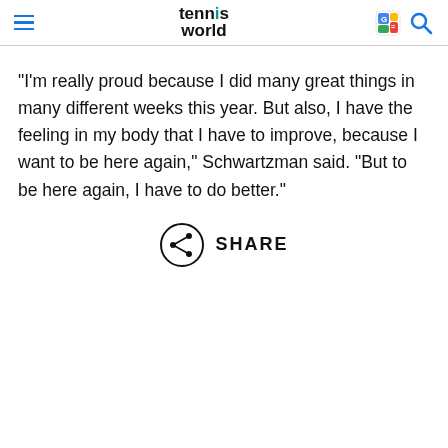tennis world
"I'm really proud because I did many great things in many different weeks this year. But also, I have the feeling in my body that I have to improve, because I want to be here again," Schwartzman said. "But to be here again, I have to do better."
SHARE